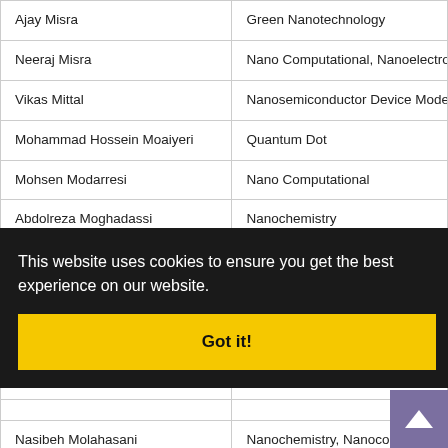| Name | Specialization |
| --- | --- |
| Ajay Misra | Green Nanotechnology |
| Neeraj Misra | Nano Computational, Nanoelectron… |
| Vikas Mittal | Nanosemiconductor Device Modell… |
| Mohammad Hossein Moaiyeri | Quantum Dot |
| Mohsen Modarresi | Nano Computational |
| Abdolreza Moghadassi | Nanochemistry |
| Mehdi moghri | Nanocomposite |
| Elham Mohagheghpour | Nanomaterial |
| Farzaneh Mohamadpoor | Nanochemistry |
| [partially hidden] | Nano…neering |
| [partially hidden] |  |
| Nasibeh Molahasani | Nanochemistry, Nanocomposite |
This website uses cookies to ensure you get the best experience on our website.
Got it!